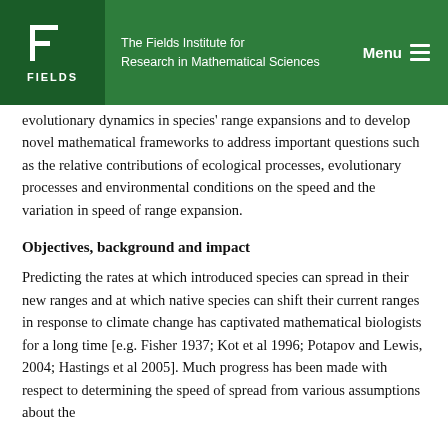The Fields Institute for Research in Mathematical Sciences
evolutionary dynamics in species' range expansions and to develop novel mathematical frameworks to address important questions such as the relative contributions of ecological processes, evolutionary processes and environmental conditions on the speed and the variation in speed of range expansion.
Objectives, background and impact
Predicting the rates at which introduced species can spread in their new ranges and at which native species can shift their current ranges in response to climate change has captivated mathematical biologists for a long time [e.g. Fisher 1937; Kot et al 1996; Potapov and Lewis, 2004; Hastings et al 2005]. Much progress has been made with respect to determining the speed of spread from various assumptions about the